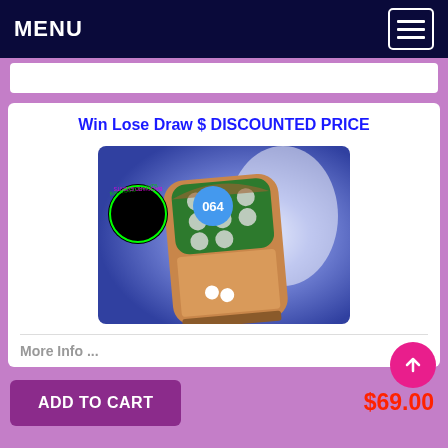MENU
Win Lose Draw $ DISCOUNTED PRICE
[Figure (photo): A wooden skee-ball / Win Lose Draw game board on a blue background with a circular 'Backyard Events' logo badge on the left and number '064' displayed on a blue circle. The board has a green scored area with circular holes at the top.]
More Info ...
ADD TO CART
$69.00